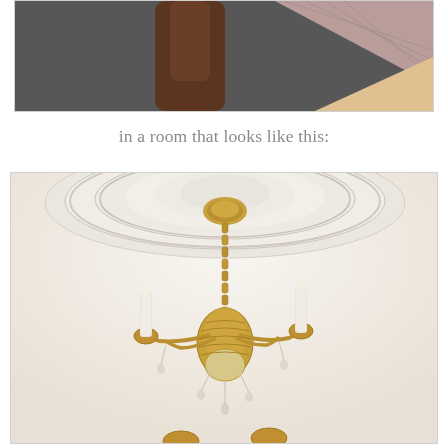[Figure (photo): Mood board or styling photo with a dark gray background, a person's arm visible, and fabric swatches including a pink/mauve textured fabric and a peach/tan swatch overlapping in the upper right corner.]
in a room that looks like this:
[Figure (photo): Close-up photograph of an ornate gold/brass chandelier with crystal droplets and candle-style arms hanging from an elaborate white plaster ceiling medallion with decorative scrollwork and floral motifs.]